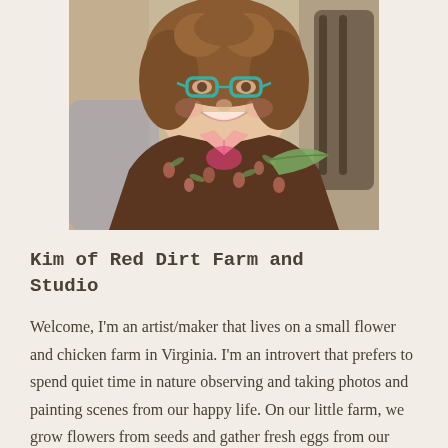[Figure (photo): Portrait photo of a smiling middle-aged woman with curly brown hair wearing teal glasses, a brown floral jacket over a pink gingham shirt, holding something green, photographed outdoors.]
Kim of Red Dirt Farm and Studio
Welcome, I'm an artist/maker that lives on a small flower and chicken farm in Virginia. I'm an introvert that prefers to spend quiet time in nature observing and taking photos and painting scenes from our happy life. On our little farm, we grow flowers from seeds and gather fresh eggs from our sweet